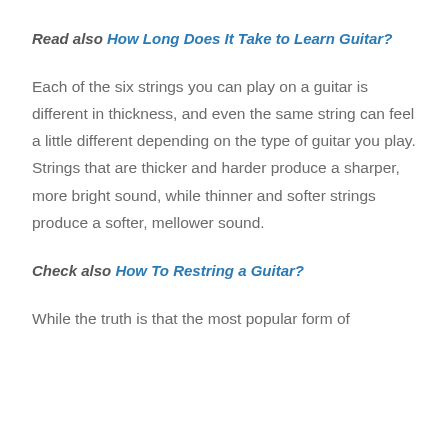Read also How Long Does It Take to Learn Guitar?
Each of the six strings you can play on a guitar is different in thickness, and even the same string can feel a little different depending on the type of guitar you play. Strings that are thicker and harder produce a sharper, more bright sound, while thinner and softer strings produce a softer, mellower sound.
Check also How To Restring a Guitar?
While the truth is that the most popular form of